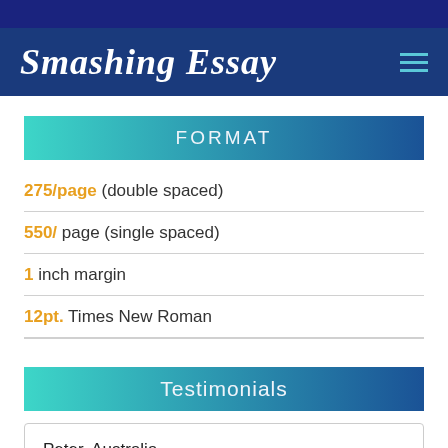Smashing Essay
FORMAT
275/page (double spaced)
550/ page (single spaced)
1 inch margin
12pt. Times New Roman
Testimonials
Peter, Australia
I ordered my literature review and methodology chapters...